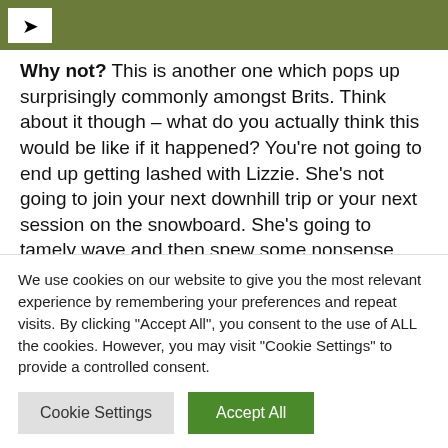[Figure (photo): Partial top image strip showing green/olive colored background with a share icon button on the left]
Why not? This is another one which pops up surprisingly commonly amongst Brits. Think about it though – what do you actually think this would be like if it happened? You're not going to end up getting lashed with Lizzie. She's not going to join your next downhill trip or your next session on the snowboard. She's going to tamely wave and then spew some nonsense about her Corgis.
Alternative: Meet someone better. Meet Bear Grvlls. Meet
We use cookies on our website to give you the most relevant experience by remembering your preferences and repeat visits. By clicking "Accept All", you consent to the use of ALL the cookies. However, you may visit "Cookie Settings" to provide a controlled consent.